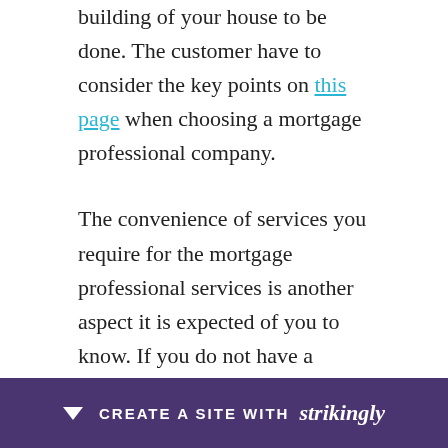building of your house to be done. The customer have to consider the key points on this page when choosing a mortgage professional company.
The convenience of services you require for the mortgage professional services is another aspect it is expected of you to know. If you do not have a house, the person will be required to get another one faster, especially if it is a house available. Therefore, the mortgage professional should also work 24 The mortgage professional to consider for the services of the company you may find that a lot of customers need their houses available repa... here are w... e is
[Figure (other): Purple banner at the bottom with a downward arrow icon, text 'CREATE A SITE WITH strikingly' in white.]